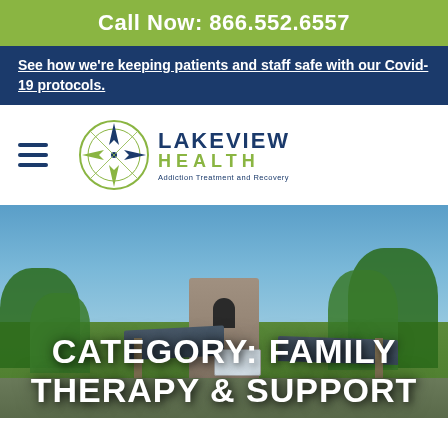Call Now: 866.552.6557
See how we're keeping patients and staff safe with our Covid-19 protocols.
[Figure (logo): Lakeview Health - Addiction Treatment and Recovery logo with compass rose icon]
[Figure (photo): Exterior photo of Lakeview Health facility building with stone tower, covered entrance, trees, and blue sky]
CATEGORY: FAMILY THERAPY & SUPPORT